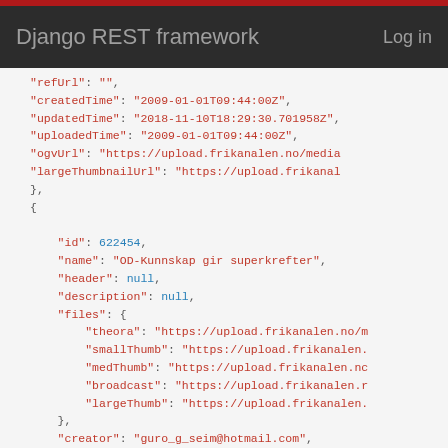Django REST framework   Log in
"refUrl": "",
"createdTime": "2009-01-01T09:44:00Z",
"updatedTime": "2018-11-10T18:29:30.701958Z",
"uploadedTime": "2009-01-01T09:44:00Z",
"ogvUrl": "https://upload.frikanalen.no/media...",
"largeThumbnailUrl": "https://upload.frikanal..."},
{
    "id": 622454,
    "name": "OD-Kunnskap gir superkrefter",
    "header": null,
    "description": null,
    "files": {
        "theora": "https://upload.frikanalen.no/m...",
        "smallThumb": "https://upload.frikanalen....",
        "medThumb": "https://upload.frikanalen.no...",
        "broadcast": "https://upload.frikanalen.n...",
        "largeThumb": "https://upload.frikanalen...."
    },
    "creator": "guro_g_seim@hotmail.com",
    "organization": {
        "id": 46,
        "name": "Operasjon Dagsverk",